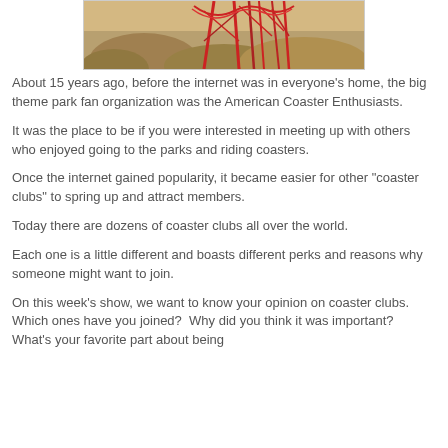[Figure (photo): Partial view of a roller coaster with red steel structure against a rocky/desert background, cropped at top]
About 15 years ago, before the internet was in everyone's home, the big theme park fan organization was the American Coaster Enthusiasts.
It was the place to be if you were interested in meeting up with others who enjoyed going to the parks and riding coasters.
Once the internet gained popularity, it became easier for other "coaster clubs" to spring up and attract members.
Today there are dozens of coaster clubs all over the world.
Each one is a little different and boasts different perks and reasons why someone might want to join.
On this week's show, we want to know your opinion on coaster clubs.  Which ones have you joined?  Why did you think it was important?  What's your favorite part about being